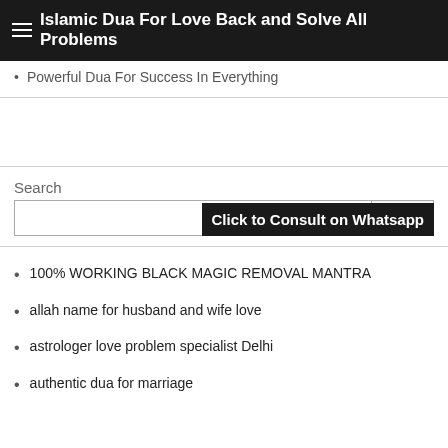Islamic Dua For Love Back and Solve All Problems
Powerful Dua For Success In Everything
Search
[Figure (screenshot): Search input box with Search button and WhatsApp consult banner overlay]
100% WORKING BLACK MAGIC REMOVAL MANTRA
allah name for husband and wife love
astrologer love problem specialist Delhi
authentic dua for marriage